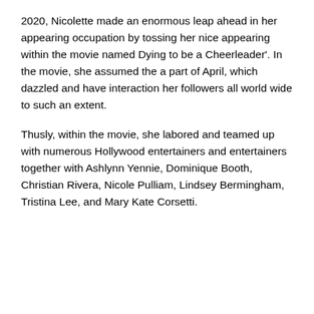2020, Nicolette made an enormous leap ahead in her appearing occupation by tossing her nice appearing within the movie named Dying to be a Cheerleader'. In the movie, she assumed the a part of April, which dazzled and have interaction her followers all world wide to such an extent.
Thusly, within the movie, she labored and teamed up with numerous Hollywood entertainers and entertainers together with Ashlynn Yennie, Dominique Booth, Christian Rivera, Nicole Pulliam, Lindsey Bermingham, Tristina Lee, and Mary Kate Corsetti.